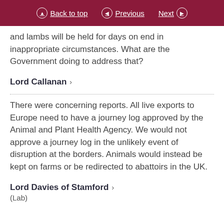Back to top   Previous   Next
and lambs will be held for days on end in inappropriate circumstances. What are the Government doing to address that?
Lord Callanan
There were concerning reports. All live exports to Europe need to have a journey log approved by the Animal and Plant Health Agency. We would not approve a journey log in the unlikely event of disruption at the borders. Animals would instead be kept on farms or be redirected to abattoirs in the UK.
Lord Davies of Stamford
(Lab)